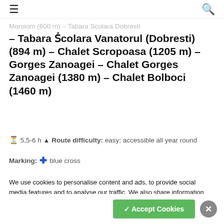≡ [hamburger menu] [search icon]
– Tabara Scolara Vanatorul (Dobresti) (894 m) – Chalet Scropoasa (1205 m) – Gorges Zanoagei – Chalet Gorges Zanoagei (1380 m) – Chalet Bolboci (1460 m)
⏳ 5,5-6 h ▲ Route difficulty: easy; accessible all year round
Marking: ✚ blue cross
We use cookies to personalise content and ads, to provide social media features and to analyse our traffic. We also share information about your use of our site with our social media, advertising and analytics partners.
Lake – 7 Springs Waterfall and Orzei Gorges
✓ Accept Cookies  ✕